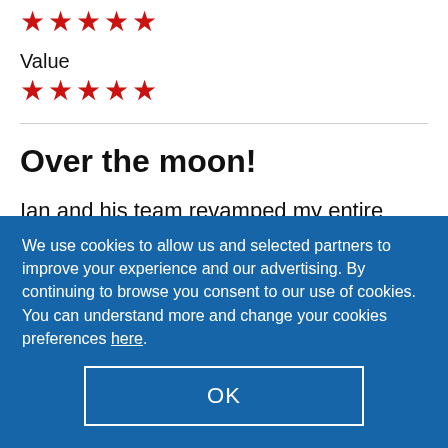[Figure (other): Five red star rating icons at the top]
Value
[Figure (other): Five red star rating icons for Value]
Over the moon!
Ian and his team revamped my entire garden. New fencing, gate, patio, artificial turf, levelling
We use cookies to allow us and selected partners to improve your experience and our advertising. By continuing to browse you consent to our use of cookies. You can understand more and change your cookies preferences here.